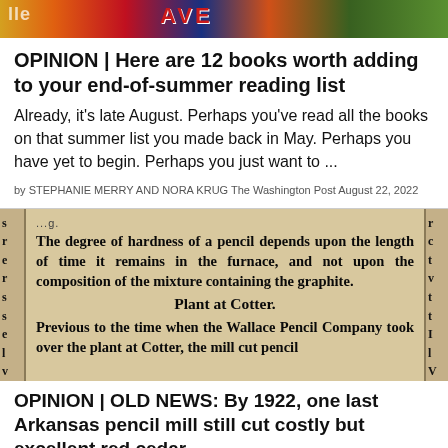[Figure (photo): Colorful banner image with flags and text in red, white, blue, yellow, green colors]
OPINION | Here are 12 books worth adding to your end-of-summer reading list
Already, it's late August. Perhaps you've read all the books on that summer list you made back in May. Perhaps you have yet to begin. Perhaps you just want to ...
by STEPHANIE MERRY AND NORA KRUG The Washington Post August 22, 2022
[Figure (photo): Scanned newspaper clipping with bold serif text about pencil hardness and a plant at Cotter]
OPINION | OLD NEWS: By 1922, one last Arkansas pencil mill still cut costly but excellent red cedar